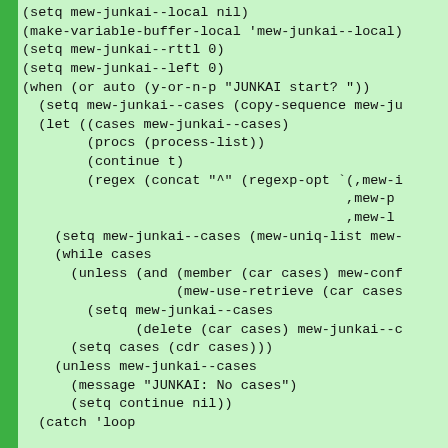[Figure (screenshot): Code snippet showing Emacs Lisp (mew-junkai) code with green background and green left bar. Code includes setq, make-variable-buffer-local, when, let, while, unless, catch forms.]